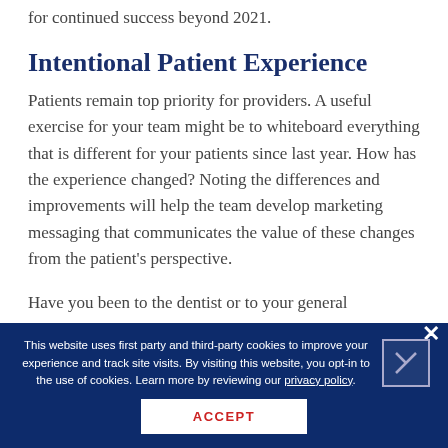for continued success beyond 2021.
Intentional Patient Experience
Patients remain top priority for providers. A useful exercise for your team might be to whiteboard everything that is different for your patients since last year. How has the experience changed? Noting the differences and improvements will help the team develop marketing messaging that communicates the value of these changes from the patient's perspective.
Have you been to the dentist or to your general
This website uses first party and third-party cookies to improve your experience and track site visits. By visiting this website, you opt-in to the use of cookies. Learn more by reviewing our privacy policy.
ACCEPT